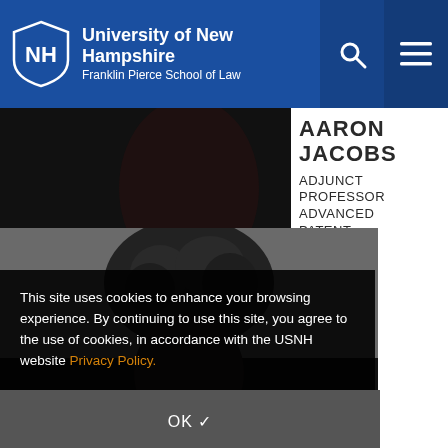University of New Hampshire Franklin Pierce School of Law
[Figure (photo): Dark photo strip showing partial figure in dark clothing]
AARON JACOBS
ADJUNCT PROFESSOR ADVANCED PATENT LITIGATION
ajacobs@princelobel.com
[Figure (photo): Black and white photo of person with curly hair, face partially visible]
This site uses cookies to enhance your browsing experience. By continuing to use this site, you agree to the use of cookies, in accordance with the USNH website Privacy Policy.
OK ✓